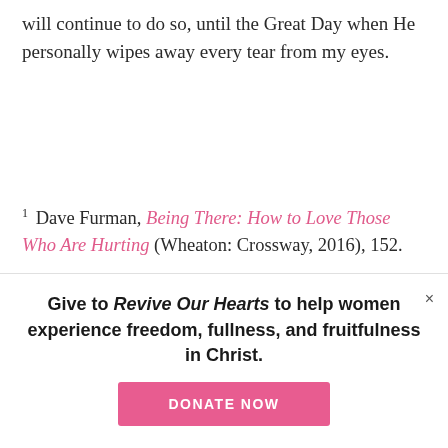will continue to do so, until the Great Day when He personally wipes away every tear from my eyes.
1 Dave Furman, Being There: How to Love Those Who Are Hurting (Wheaton: Crossway, 2016), 152.
Give to Revive Our Hearts to help women experience freedom, fullness, and fruitfulness in Christ.
DONATE NOW